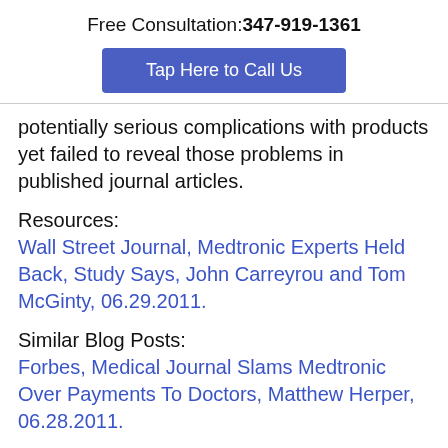Free Consultation: 347-919-1361
Tap Here to Call Us
potentially serious complications with products yet failed to reveal those problems in published journal articles.
Resources:
Wall Street Journal, Medtronic Experts Held Back, Study Says, John Carreyrou and Tom McGinty, 06.29.2011.
Similar Blog Posts:
Forbes, Medical Journal Slams Medtronic Over Payments To Doctors, Matthew Herper, 06.28.2011.